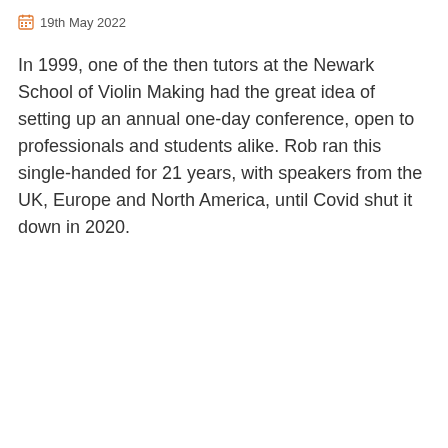19th May 2022
In 1999, one of the then tutors at the Newark School of Violin Making had the great idea of setting up an annual one-day conference, open to professionals and students alike. Rob ran this single-handed for 21 years, with speakers from the UK, Europe and North America, until Covid shut it down in 2020.